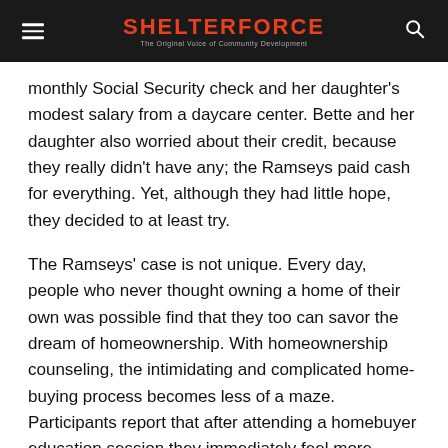SHELTERFORCE — The Original Voice of Community Development
monthly Social Security check and her daughter's modest salary from a daycare center. Bette and her daughter also worried about their credit, because they really didn't have any; the Ramseys paid cash for everything. Yet, although they had little hope, they decided to at least try.
The Ramseys' case is not unique. Every day, people who never thought owning a home of their own was possible find that they too can savor the dream of homeownership. With homeownership counseling, the intimidating and complicated home-buying process becomes less of a maze. Participants report that after attending a homebuyer education session they immediately feel more comfortable about what they are undertaking simply because they understand the process better. Real estate and mortgage